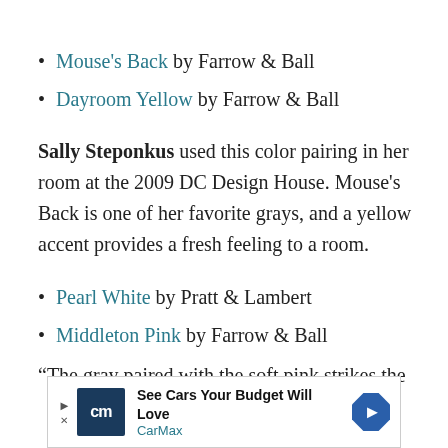Mouse's Back by Farrow & Ball
Dayroom Yellow by Farrow & Ball
Sally Steponkus used this color pairing in her room at the 2009 DC Design House. Mouse's Back is one of her favorite grays, and a yellow accent provides a fresh feeling to a room.
Pearl White by Pratt & Lambert
Middleton Pink by Farrow & Ball
“The gray paired with the soft pink strikes the
[Figure (other): Advertisement banner for CarMax: 'See Cars Your Budget Will Love' with CarMax logo and directional arrow icon.]